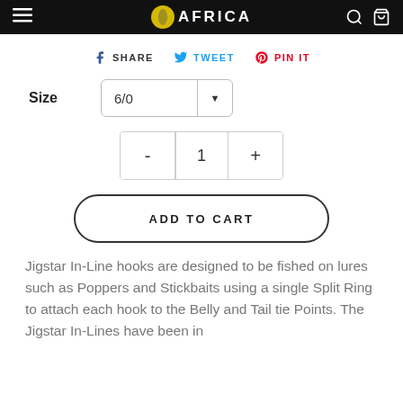AFRICA
SHARE  TWEET  PIN IT
Size  6/0
- 1 +
ADD TO CART
Jigstar In-Line hooks are designed to be fished on lures such as Poppers and Stickbaits using a single Split Ring to attach each hook to the Belly and Tail tie Points. The Jigstar In-Lines have been in